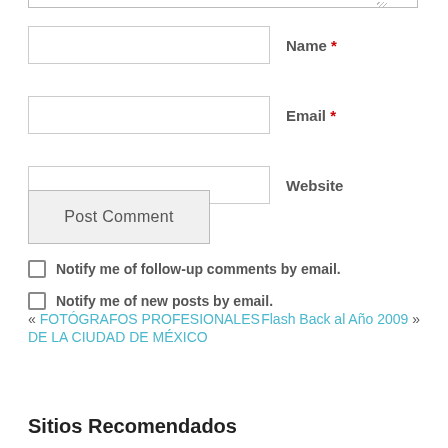Name *
Email *
Website
Post Comment
Notify me of follow-up comments by email.
Notify me of new posts by email.
« FOTÓGRAFOS PROFESIONALES DE LA CIUDAD DE MÉXICO
Flash Back al Año 2009 »
Sitios Recomendados